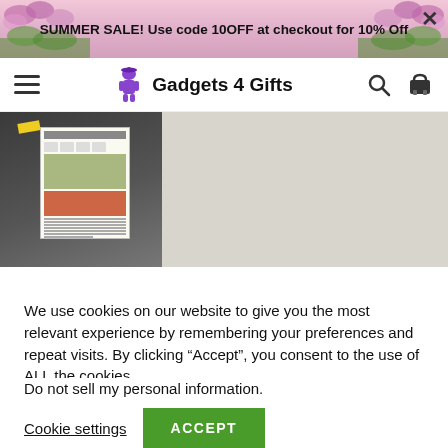SUMMER SALE! Use code 10OFF at checkout for 10% Off
[Figure (logo): Gadgets 4 Gifts website navigation bar with hamburger menu, logo icon, site name 'Gadgets 4 Gifts', search icon, and cart icon]
[Figure (photo): Product photo showing a dark-colored item with a product instruction leaflet visible, displayed against a light beige background]
We use cookies on our website to give you the most relevant experience by remembering your preferences and repeat visits. By clicking “Accept”, you consent to the use of ALL the cookies.
Do not sell my personal information.
Cookie settings  ACCEPT